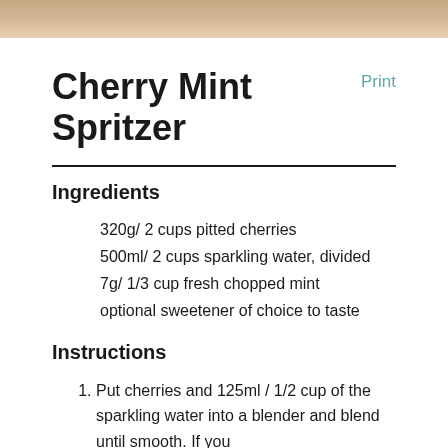[Figure (photo): Decorative food photo strip at top of recipe page, tan/beige tones]
Cherry Mint Spritzer
Print
Ingredients
320g/ 2 cups pitted cherries
500ml/ 2 cups sparkling water, divided
7g/ 1/3 cup fresh chopped mint
optional sweetener of choice to taste
Instructions
Put cherries and 125ml / 1/2 cup of the sparkling water into a blender and blend until smooth. If you